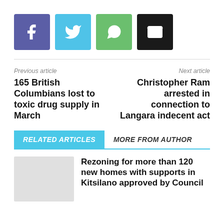[Figure (other): Four social sharing icon buttons: Facebook (purple), Twitter (light blue), WhatsApp (green), Email (black)]
Previous article
Next article
165 British Columbians lost to toxic drug supply in March
Christopher Ram arrested in connection to Langara indecent act
RELATED ARTICLES
MORE FROM AUTHOR
Rezoning for more than 120 new homes with supports in Kitsilano approved by Council